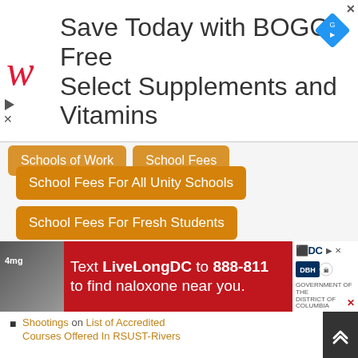[Figure (screenshot): Walgreens advertisement banner: Save Today with BOGO Free Select Supplements and Vitamins. Red Walgreens W logo on left, diamond close button top right.]
Schools of Work (partially visible, truncated)
School Fees (partially visible, truncated)
School Fees For All Unity Schools
School Fees For Fresh Students
School of Nursing
Students Login Portal
UTME Subjects Combination
WAEC
[Figure (screenshot): LiveLongDC advertisement banner: Text LiveLongDC to 888-811 to find naloxone near you. Red background with white text. DC and DBH logos on right.]
Shootings on List of Accredited Courses Offered In RSUST-Rivers